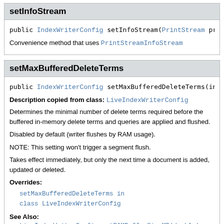setInfoStream
public IndexWriterConfig setInfoStream(PrintStream pr
Convenience method that uses PrintStreamInfoStream
setMaxBufferedDeleteTerms
public IndexWriterConfig setMaxBufferedDeleteTerms(in
Description copied from class: LiveIndexWriterConfig
Determines the minimal number of delete terms required before the buffered in-memory delete terms and queries are applied and flushed.
Disabled by default (writer flushes by RAM usage).
NOTE: This setting won't trigger a segment flush.
Takes effect immediately, but only the next time a document is added, updated or deleted.
Overrides:
setMaxBufferedDeleteTerms in class LiveIndexWriterConfig
See Also:
LiveIndexWriterConfig.setRAMBufferSizeMB(double)